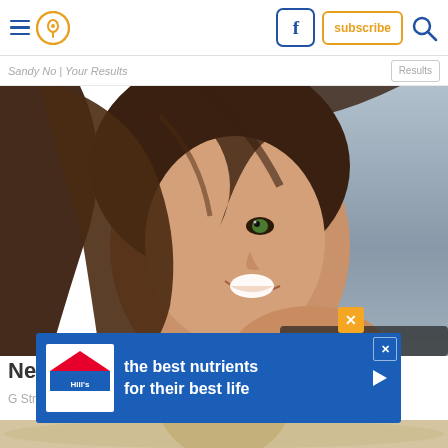Navigation bar with hamburger menu, location pin icon, Facebook button, subscribe button, search icon
Sandy No | Your Results
[Figure (photo): Close-up portrait of a smiling woman with long brunette hair partially covering one eye, looking toward camera with bright smile, wearing black top, blurred grey background]
[Figure (infographic): Hill's Pet Nutrition advertisement banner: blue background with Hill's logo on left, white text reading 'the best nutrients for their best life', play arrow on right, X close button]
New G
G String
[Figure (photo): Partial bottom strip showing another image below]